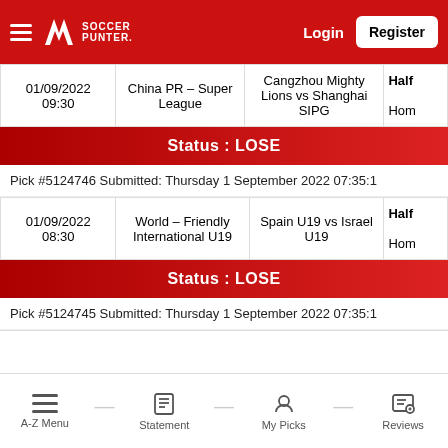Soccer Punter — Login | Register
| Date/Time | League | Match | Half/Result |
| --- | --- | --- | --- |
| 01/09/2022 09:30 | China PR – Super League | Cangzhou Mighty Lions vs Shanghai SIPG | Half Hom |
Status : LOSE
Pick #5124746 Submitted: Thursday 1 September 2022 07:35:1
| Date/Time | League | Match | Half/Result |
| --- | --- | --- | --- |
| 01/09/2022 08:30 | World – Friendly International U19 | Spain U19 vs Israel U19 | Half Hom |
Status : LOSE
Pick #5124745 Submitted: Thursday 1 September 2022 07:35:1
A-Z Menu — Statement — My Picks — Reviews